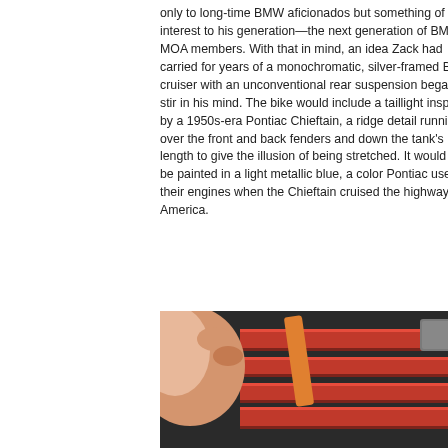only to long-time BMW aficionados but something of interest to his generation—the next generation of BMW MOA members. With that in mind, an idea Zack had carried for years of a monochromatic, silver-framed BMW cruiser with an unconventional rear suspension began to stir in his mind. The bike would include a taillight inspired by a 1950s-era Pontiac Chieftain, a ridge detail running over the front and back fenders and down the tank's length to give the illusion of being stretched. It would all be painted in a light metallic blue, a color Pontiac used on their engines when the Chieftain cruised the highways of America.
[Figure (photo): Close-up photo of hands working with red metal tool chest or toolbox, with an orange strap and a label tag visible, set against a dark background.]